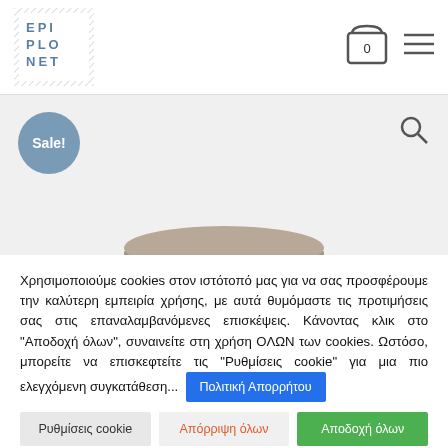[Figure (logo): Epiplonet logo with diagonal hatching pattern and blue letters E P I P L O N E T]
[Figure (screenshot): Shopping cart icon with 0 and hamburger menu icon in header]
[Figure (photo): Product image area with Sale! badge and a taupe/beige cushion or mat partially visible]
Χρησιμοποιούμε cookies στον ιστότοπό μας για να σας προσφέρουμε την καλύτερη εμπειρία χρήσης, με αυτά θυμόμαστε τις προτιμήσεις σας στις επαναλαμβανόμενες επισκέψεις. Κάνοντας κλικ στο "Αποδοχή όλων", συναινείτε στη χρήση ΟΛΩΝ των cookies. Ωστόσο, μπορείτε να επισκεφτείτε τις "Ρυθμίσεις cookie" για μια πιο ελεγχόμενη συγκατάθεση...
Πολιτική Απορρήτου
Ρυθμίσεις cookie
Απόρριψη όλων
Αποδοχή όλων